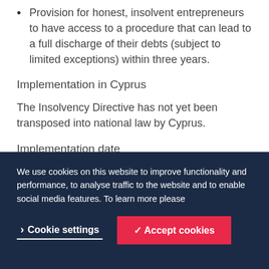Provision for honest, insolvent entrepreneurs to have access to a procedure that can lead to a full discharge of their debts (subject to limited exceptions) within three years.
Implementation in Cyprus
The Insolvency Directive has not yet been transposed into national law by Cyprus.
Implementation date
The European Commission has granted Cyprus an
We use cookies on this website to improve functionality and performance, to analyse traffic to the website and to enable social media features. To learn more please